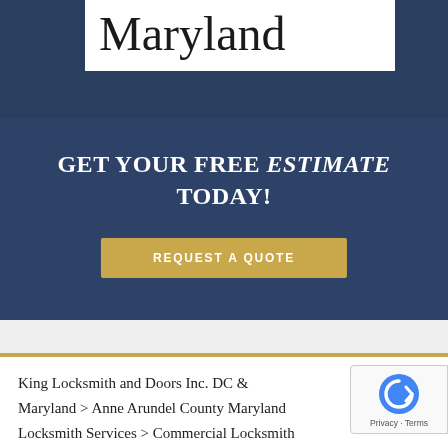Maryland
GET YOUR FREE ESTIMATE TODAY!
REQUEST A QUOTE
King Locksmith and Doors Inc. DC & Maryland > Anne Arundel County Maryland Locksmith Services > Commercial Locksmith 21114 – Crofton Maryland